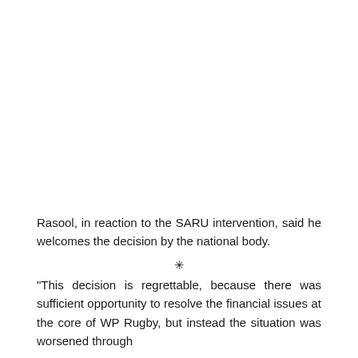Rasool, in reaction to the SARU intervention, said he welcomes the decision by the national body.
"This decision is regrettable, because there was sufficient opportunity to resolve the financial issues at the core of WP Rugby, but instead the situation was worsened through